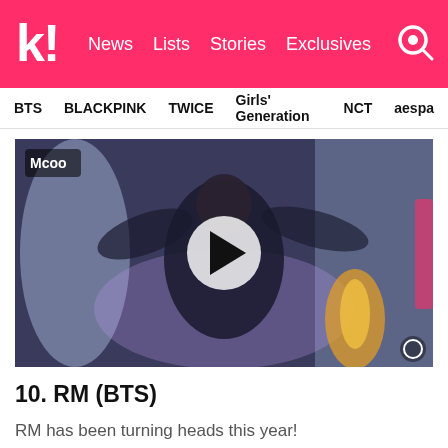k! News Lists Stories Exclusives
BTS  BLACKPINK  TWICE  Girls' Generation  NCT  aespa
[Figure (screenshot): Video thumbnail showing a performer on stage with a play button overlay. Performer in black outfit dancing on a lit stage, K-pop music show context.]
10. RM (BTS)
RM has been turning heads this year!